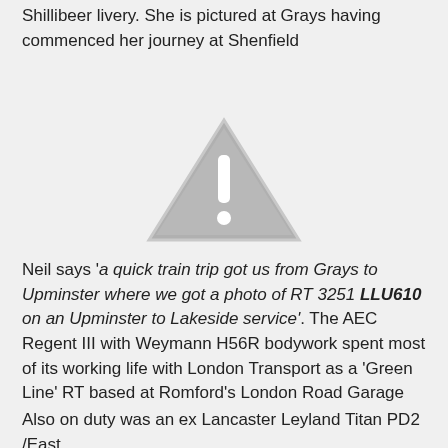Shillibeer livery. She is pictured at Grays having commenced her journey at Shenfield
[Figure (other): A greyed-out placeholder image showing a warning triangle with an exclamation mark, indicating a missing or unavailable image.]
Neil says 'a quick train trip got us from Grays to Upminster where we got a photo of RT 3251 LLU610 on an Upminster to Lakeside service'. The AEC Regent III with Weymann H56R bodywork spent most of its working life with London Transport as a 'Green Line' RT based at Romford's London Road Garage
Also on duty was an ex Lancaster Leyland Titan PD2 /East